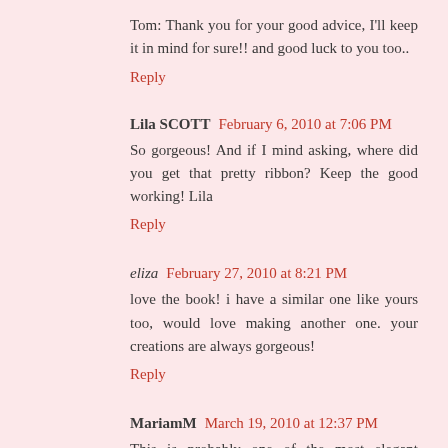Tom: Thank you for your good advice, I'll keep it in mind for sure!! and good luck to you too..
Reply
Lila SCOTT  February 6, 2010 at 7:06 PM
So gorgeous! And if I mind asking, where did you get that pretty ribbon? Keep the good working! Lila
Reply
eliza  February 27, 2010 at 8:21 PM
love the book! i have a similar one like yours too, would love making another one. your creations are always gorgeous!
Reply
MariamM  March 19, 2010 at 12:37 PM
This is probably one of the most elegant tiramisu presentation's